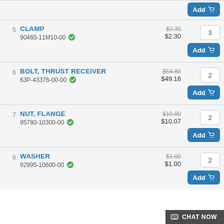5 CLAMP 90465-11M10-00 $2.30 (was $2.30) qty: 3 Add
6 BOLT, THRUST RECEIVER 63P-43376-00-00 $49.16 (was $54.80) qty: 2 Add
7 NUT, FLANGE 95780-10300-00 $10.07 (was $10.80) qty: 2 Add
8 WASHER 92995-10600-00 $1.00 (was $1.00) qty: 2 Add